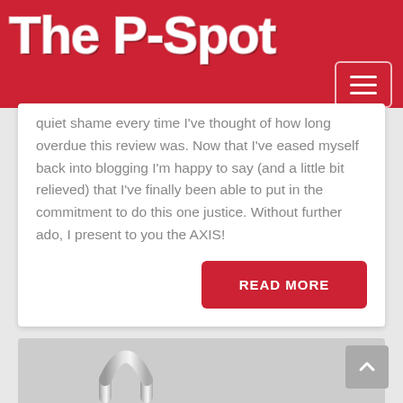The P-Spot
quiet shame every time I've thought of how long overdue this review was. Now that I've eased myself back into blogging I'm happy to say (and a little bit relieved) that I've finally been able to put in the commitment to do this one justice. Without further ado, I present to you the AXIS!
READ MORE
[Figure (photo): Bottom section showing a metallic arch/loop shaped object (AXIS product) on a grey background]